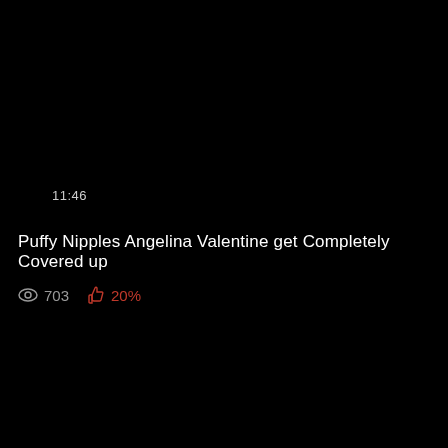11:46
Puffy Nipples Angelina Valentine get Completely Covered up
703  20%